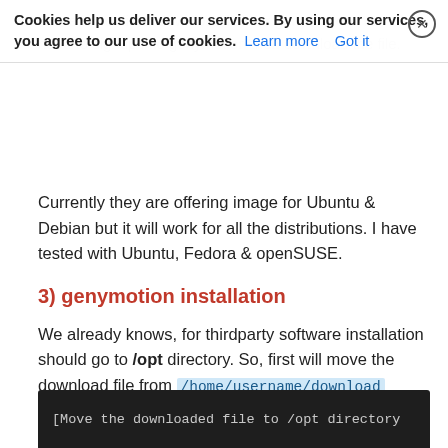Cookies help us deliver our services. By using our services, you agree to our use of cookies. Learn more Got it
Currently they are offering image for Ubuntu & Debian but it will work for all the distributions. I have tested with Ubuntu, Fedora & openSUSE.
3) genymotion installation
We already knows, for thirdparty software installation should go to /opt directory. So, first will move the download file from /home/username/download to /opt directory then start installation by following the below steps.
[Figure (screenshot): Dark terminal box showing text: [Move the downloaded file to /opt directory]